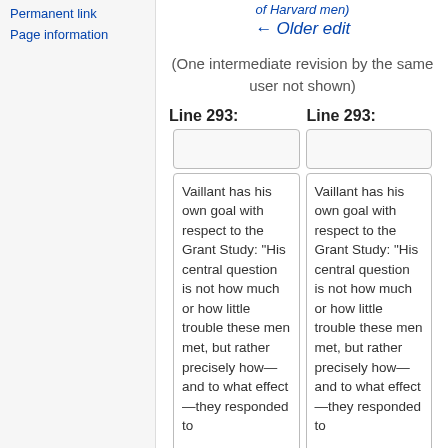Permanent link
Page information
of Harvard men)
← Older edit
(One intermediate revision by the same user not shown)
Line 293:
Line 293:
| Vaillant has his own goal with respect to the Grant Study: "His central question is not how much or how little trouble these men met, but rather precisely how—and to what effect—they responded to | Vaillant has his own goal with respect to the Grant Study: "His central question is not how much or how little trouble these men met, but rather precisely how—and to what effect—they responded to |